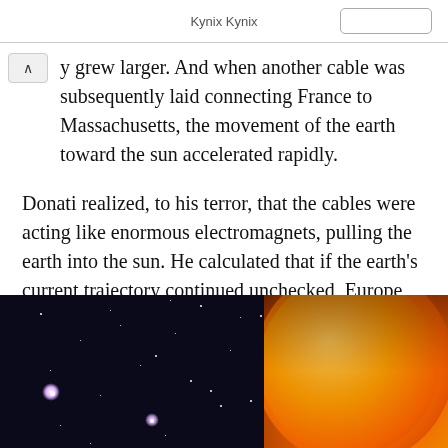Kynix Kynix
y grew larger. And when another cable was subsequently laid connecting France to Massachusetts, the movement of the earth toward the sun accelerated rapidly.
Donati realized, to his terror, that the cables were acting like enormous electromagnets, pulling the earth into the sun. He calculated that if the earth's current trajectory continued unchecked, Europe would become tropical in 12 years, and the entire earth would be uninhabitable soon after. Finally the planet would plunge into the sun.
[Figure (photo): Two side-by-side astronomical photos: left shows a dark starfield with bright stars including a prominent glowing white/purple star; right shows a close-up of the sun's surface with fiery orange and yellow corona details.]